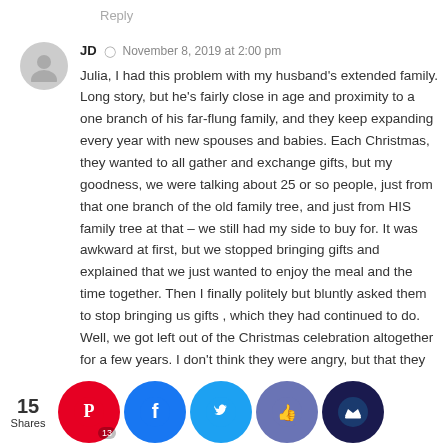Reply
JD  ©  November 8, 2019 at 2:00 pm
Julia, I had this problem with my husband's extended family. Long story, but he's fairly close in age and proximity to a one branch of his far-flung family, and they keep expanding every year with new spouses and babies. Each Christmas, they wanted to all gather and exchange gifts, but my goodness, we were talking about 25 or so people, just from that one branch of the old family tree, and just from HIS family tree at that – we still had my side to buy for. It was awkward at first, but we stopped bringing gifts and explained that we just wanted to enjoy the meal and the time together. Then I finally politely but bluntly asked them to stop bringing us gifts , which they had continued to do. Well, we got left out of the Christmas celebration altogether for a few years. I don't think they were angry, but that they thought we would be upset watching them open gifts to each other (we wouldn't have been). We finally ...ited a...s past...e sta...od te...them o...e, but w...ly don't...nge gift...
15 Shares